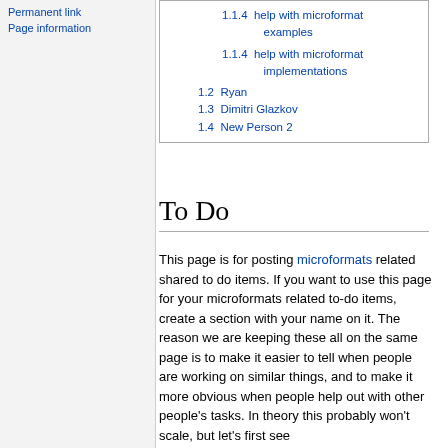Permanent link
Page information
1.1.4 help with microformat implementations
1.2 Ryan
1.3 Dimitri Glazkov
1.4 New Person 2
To Do
This page is for posting microformats related shared to do items. If you want to use this page for your microformats related to-do items, create a section with your name on it. The reason we are keeping these all on the same page is to make it easier to tell when people are working on similar things, and to make it more obvious when people help out with other people's tasks. In theory this probably won't scale, but let's first see